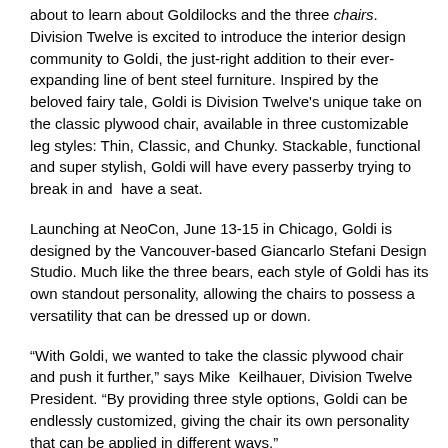about to learn about Goldilocks and the three chairs. Division Twelve is excited to introduce the interior design community to Goldi, the just-right addition to their ever-expanding line of bent steel furniture. Inspired by the beloved fairy tale, Goldi is Division Twelve's unique take on the classic plywood chair, available in three customizable leg styles: Thin, Classic, and Chunky. Stackable, functional and super stylish, Goldi will have every passerby trying to break in and  have a seat.
Launching at NeoCon, June 13-15 in Chicago, Goldi is designed by the Vancouver-based Giancarlo Stefani Design Studio. Much like the three bears, each style of Goldi has its own standout personality, allowing the chairs to possess a versatility that can be dressed up or down.
“With Goldi, we wanted to take the classic plywood chair and push it further,” says Mike  Keilhauer, Division Twelve President. “By providing three style options, Goldi can be endlessly customized, giving the chair its own personality that can be applied in different ways.”
The first style, Thin, features a sleek, slim frame that was designed to accommodate high density stacking, ideal for multipurpose spaces. The second style is Classic, because a classic plywood-style chair never goes out of fashion. The third style, Chunky, was designed to replicate the